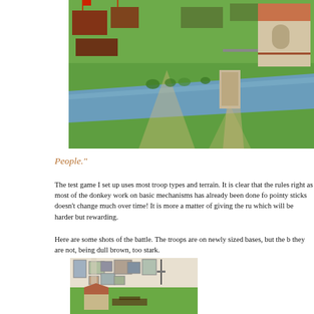[Figure (photo): Aerial view of a wargame battlefield with miniature troops, a river, bridge, and a building with terracotta roof on green terrain.]
People."
The test game I set up uses most troop types and terrain. It is clear that the rules right as most of the donkey work on basic mechanisms has already been done fo pointy sticks doesn't change much over time! It is more a matter of giving the ru which will be harder but rewarding.
Here are some shots of the battle. The troops are on newly sized bases, but the b they are not, being dull brown, too stark.
[Figure (photo): Interior wargame room with framed pictures on white wall and miniature battlefield with buildings on table.]
[Figure (photo): Wargame battlefield with miniature buildings including a church tower and troops on green terrain.]